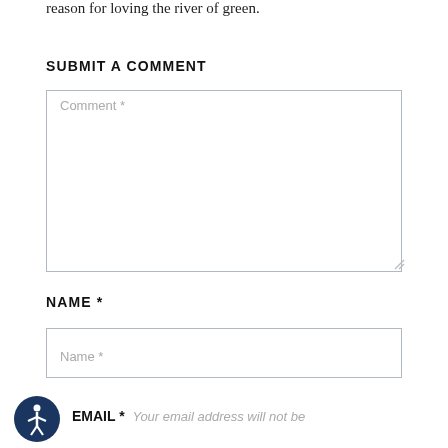reason for loving the river of green.
SUBMIT A COMMENT
[Figure (screenshot): Comment text input area — a large bordered rectangular text field with placeholder text 'Comment *' and a resize handle in the bottom-right corner.]
NAME *
[Figure (screenshot): Name text input field — a bordered rectangular input with placeholder text 'Name *'.]
[Figure (other): Accessibility icon — a circular dark blue button with a white wheelchair/person symbol inside.]
EMAIL *  Your email address will not be published.